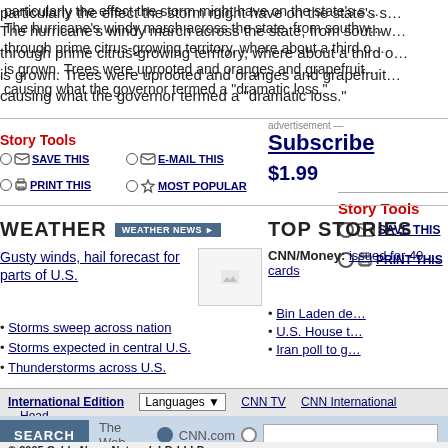particularly the effect the storm might have on the state's s...
The hurricane's windy march across the state, from southw... through prime citrus-growing territory, where about a third o... is grown. Trees were uprooted and oranges and grapefruit... causing what the governor termed a "dramatic loss."
Story Tools
SAVE THIS
E-MAIL THIS
PRINT THIS
MOST POPULAR
advertisement — Subscribe $1.99
WEATHER
Gusty winds, hail forecast for parts of U.S.
Storms sweep across nation
Storms expected in central U.S.
Thunderstorms across U.S.
TOP STORIES
CNN/Money: issued for 40 ... cards
Bin Laden de...
U.S. House t...
Iran poll to g...
International Edition  Languages  CNN TV  CNN International  Head...
SEARCH  The Web  CNN.com
© 2005 Cable News Network LP, LLLP. A Time Warner Company. All Rights Reserved. Terms under which this service is provided to you. Read our privacy guidelines. Contact us.